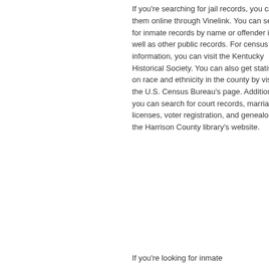If you're searching for jail records, you can find them online through Vinelink. You can search for inmate records by name or offender id, as well as other public records. For census information, you can visit the Kentucky Historical Society. You can also get statistics on race and ethnicity in the county by visiting the U.S. Census Bureau's page. Additionally, you can search for court records, marriage licenses, voter registration, and genealogy on the Harrison County library's website.
If you're looking for inmate...